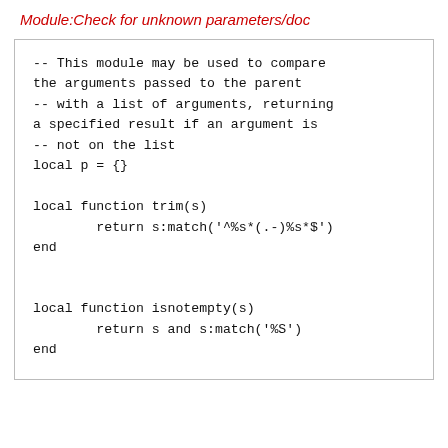Module:Check for unknown parameters/doc
-- This module may be used to compare
the arguments passed to the parent
-- with a list of arguments, returning
a specified result if an argument is
-- not on the list
local p = {}

local function trim(s)
        return s:match('^%s*(.-)%s*$')
end


local function isnotempty(s)
        return s and s:match('%S')
end